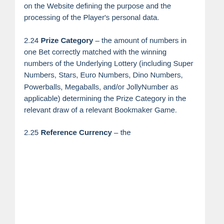on the Website defining the purpose and the processing of the Player's personal data.
2.24 Prize Category – the amount of numbers in one Bet correctly matched with the winning numbers of the Underlying Lottery (including Super Numbers, Stars, Euro Numbers, Dino Numbers, Powerballs, Megaballs, and/or JollyNumber as applicable) determining the Prize Category in the relevant draw of a relevant Bookmaker Game.
2.25 Reference Currency – the